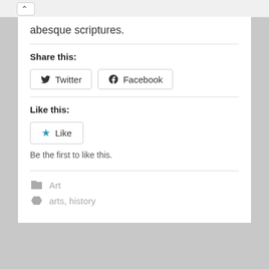abesque scriptures.
Share this:
Twitter  Facebook
Like this:
Like
Be the first to like this.
Art
arts, history